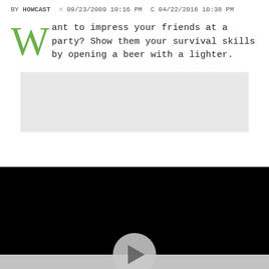BY HOWCAST  09/23/2009 10:16 PM  04/22/2016 10:38 PM
Want to impress your friends at a party? Show them your survival skills by opening a beer with a lighter.
[Figure (other): Gray advertisement placeholder rectangle]
[Figure (other): Black video player with play button overlay and light gray control bar]